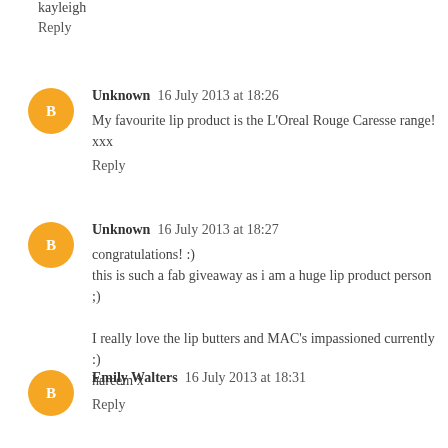kayleigh
Reply
Unknown  16 July 2013 at 18:26
My favourite lip product is the L'Oreal Rouge Caresse range! xxx
Reply
Unknown  16 July 2013 at 18:27
congratulations! :)
this is such a fab giveaway as i am a huge lip product person ;)

I really love the lip butters and MAC's impassioned currently :)
hareem x
Reply
Emily Walters  16 July 2013 at 18:31